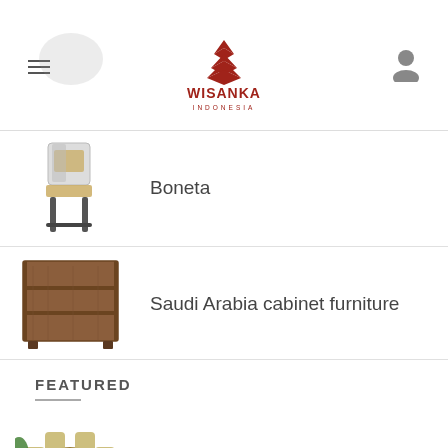madura sofa 2 seater furniture
[Figure (logo): Wisanka Indonesia logo with chevron pattern]
Boneta
[Figure (photo): Boneta chair product image]
Saudi Arabia cabinet furniture
[Figure (photo): Saudi Arabia cabinet furniture product image]
FEATURED
Gati rattan dining set
[Figure (photo): Gati rattan dining set product image]
Dilla rattan dining set
[Figure (photo): Dilla rattan dining set product image]